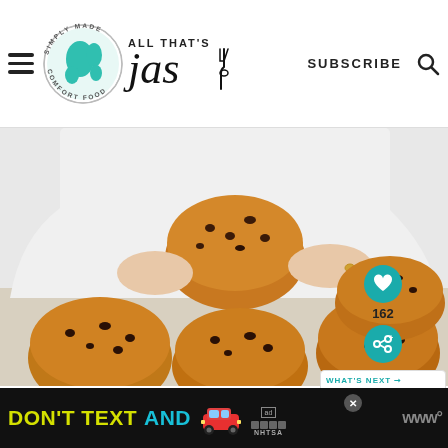ALL THAT'S JAS — SUBSCRIBE
[Figure (photo): Person in white chef's attire holding a golden-baked bun/roll with raisins or currants, with several more baked rolls on a white surface below]
[Figure (infographic): Side panel with heart/favorite button showing count 162 and a share button, plus a 'What's Next' panel showing Croatian Quick No... with thumbnail]
[Figure (photo): Ad banner showing DON'T TEXT AND [car emoji] with NHTSA branding and ad label]